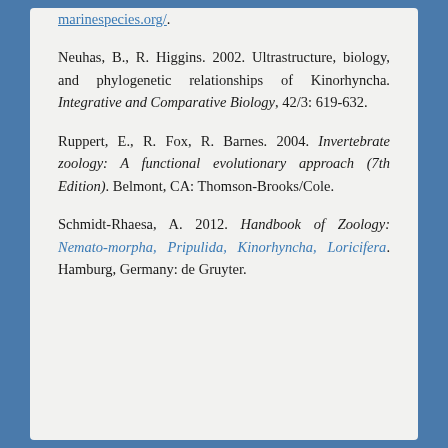marinespecies.org/.
Neuhas, B., R. Higgins. 2002. Ultrastructure, biology, and phylogenetic relationships of Kinorhyncha. Integrative and Comparative Biology, 42/3: 619-632.
Ruppert, E., R. Fox, R. Barnes. 2004. Invertebrate zoology: A functional evolutionary approach (7th Edition). Belmont, CA: Thomson-Brooks/Cole.
Schmidt-Rhaesa, A. 2012. Handbook of Zoology: Nematomorpha, Pripulida, Kinorhyncha, Loricifera. Hamburg, Germany: de Gruyter.